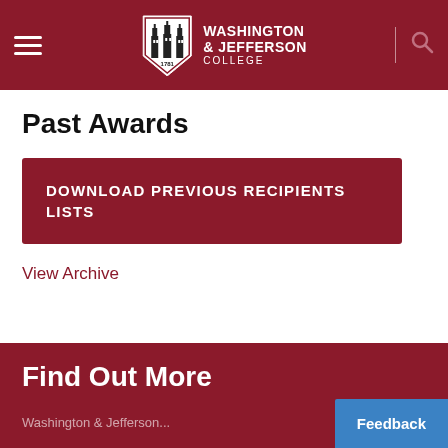[Figure (logo): Washington & Jefferson College header with shield logo, hamburger menu icon on left, and search icon on right on a dark red background]
Past Awards
DOWNLOAD PREVIOUS RECIPIENTS LISTS
View Archive
Find Out More
Washington & Jefferson ...